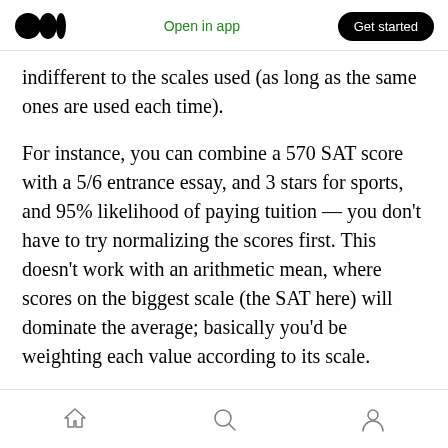Medium logo | Open in app | Get started
indifferent to the scales used (as long as the same ones are used each time).
For instance, you can combine a 570 SAT score with a 5/6 entrance essay, and 3 stars for sports, and 95% likelihood of paying tuition — you don't have to try normalizing the scores first. This doesn't work with an arithmetic mean, where scores on the biggest scale (the SAT here) will dominate the average; basically you'd be weighting each value according to its scale.
Evenness
Home | Search | Profile